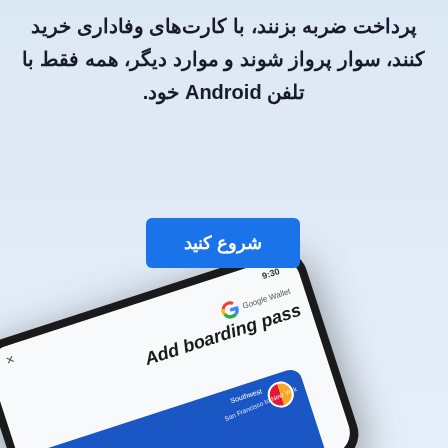پرداخت ضربه بزنند، با کارت‌های وفاداری خرید کنند، سوار پرواز شوند و موارد دیگر، همه فقط با تلفن Android خود.
[Figure (screenshot): Blue 'شروع کنید' (Get started) button and an Android phone showing Google Wallet app with a Southwest Airlines boarding pass from SFO to JFK for passenger John McClane]